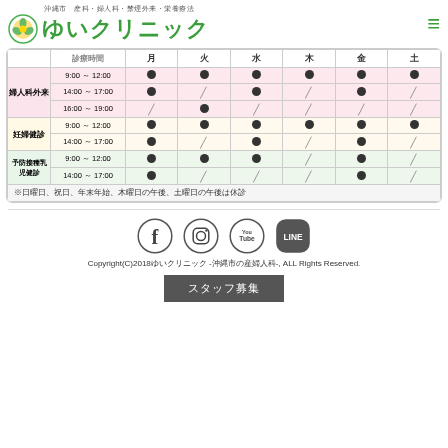ゆいクリニック 沖縄市 産科・婦人科・禁煙外来・栄養療法
|  | 診療時間 | 月 | 火 | 水 | 木 | 金 | 土 |
| --- | --- | --- | --- | --- | --- | --- | --- |
| 婦人科外来 | 9:00 ～ 12:00 | ● | ● | ● | ● | ● | ● |
|  | 14:00 ～ 17:00 | ● | / | ● | / | ● | / |
|  | 16:00 ～ 19:00 | / | ● | / | / | / | / |
| 妊婦健診 | 9:00 ～ 12:00 | ● | ● | ● | ● | ● | ● |
|  | 14:00 ～ 17:00 | ● | / | ● | / | ● | / |
| 予防接種乳児健診 | 9:00 ～ 12:00 | ● | ● | ● | / | ● | / |
|  | 14:00 ～ 17:00 | ● | / | / | / | ● | / |
※日曜日、祝日、年末年始、木曜日の午後、土曜日の午後は休診
[Figure (infographic): Social media icons: Facebook, Instagram, YouTube, LINE]
Copyright(C)2018ゆいクリニック -沖縄市の産婦人科-, ALL Rights Reserved.
スタッフ募集